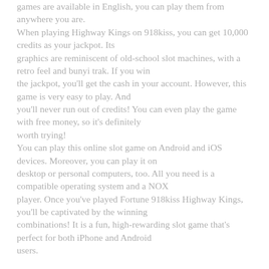games are available in English, you can play them from anywhere you are. When playing Highway Kings on 918kiss, you can get 10,000 credits as your jackpot. Its graphics are reminiscent of old-school slot machines, with a retro feel and bunyi trak. If you win the jackpot, you'll get the cash in your account. However, this game is very easy to play. And you'll never run out of credits! You can even play the game with free money, so it's definitely worth trying! You can play this online slot game on Android and iOS devices. Moreover, you can play it on desktop or personal computers, too. All you need is a compatible operating system and a NOX player. Once you've played Fortune 918kiss Highway Kings, you'll be captivated by the winning combinations! It is a fun, high-rewarding slot game that's perfect for both iPhone and Android users.